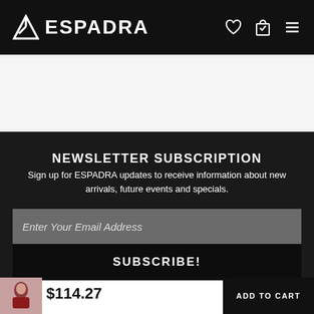ESPADRA
NEWSLETTER SUBSCRIPTION
Sign up for ESPADRA updates to receive information about new arrivals, future events and specials.
Enter Your Email Address
SUBSCRIBE!
[Figure (photo): Small product thumbnail showing a woman in a red outfit]
$114.27
ADD TO CART